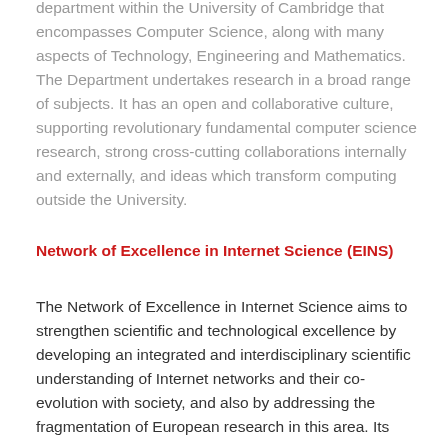department within the University of Cambridge that encompasses Computer Science, along with many aspects of Technology, Engineering and Mathematics. The Department undertakes research in a broad range of subjects. It has an open and collaborative culture, supporting revolutionary fundamental computer science research, strong cross-cutting collaborations internally and externally, and ideas which transform computing outside the University.
Network of Excellence in Internet Science (EINS)
The Network of Excellence in Internet Science aims to strengthen scientific and technological excellence by developing an integrated and interdisciplinary scientific understanding of Internet networks and their co-evolution with society, and also by addressing the fragmentation of European research in this area. Its